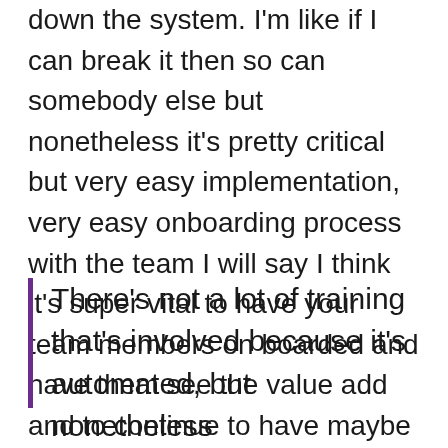down the system. I'm like if I can break it then so can somebody else but nonetheless it's pretty critical but very easy implementation, very easy onboarding process with the team I will say I think it's super vital to have your team members on boarded and have them see the value add and to continue to have maybe just touchpoint refresher training.
There's not a lot of training that's involved because it's automated, but nonetheless